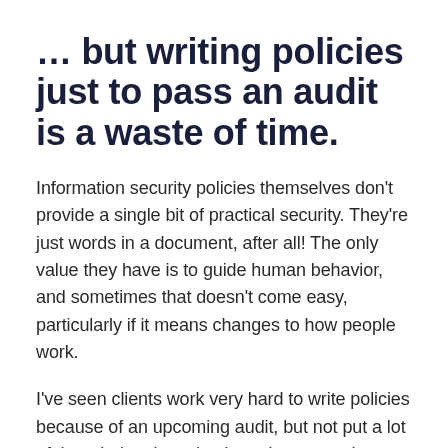… but writing policies just to pass an audit is a waste of time.
Information security policies themselves don't provide a single bit of practical security. They're just words in a document, after all! The only value they have is to guide human behavior, and sometimes that doesn't come easy, particularly if it means changes to how people work.
I've seen clients work very hard to write policies because of an upcoming audit, but not put a lot of thought into how they're going to get the entire organization to